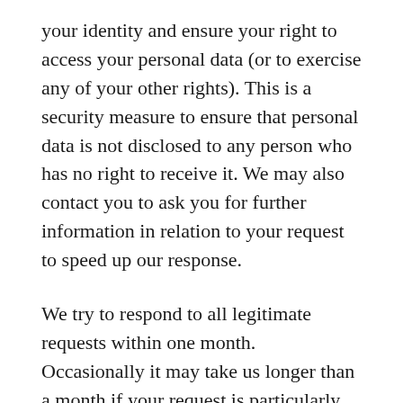your identity and ensure your right to access your personal data (or to exercise any of your other rights). This is a security measure to ensure that personal data is not disclosed to any person who has no right to receive it. We may also contact you to ask you for further information in relation to your request to speed up our response.
We try to respond to all legitimate requests within one month. Occasionally it may take us longer than a month if your request is particularly complex or you have made a number of requests. In this case, we will notify you.